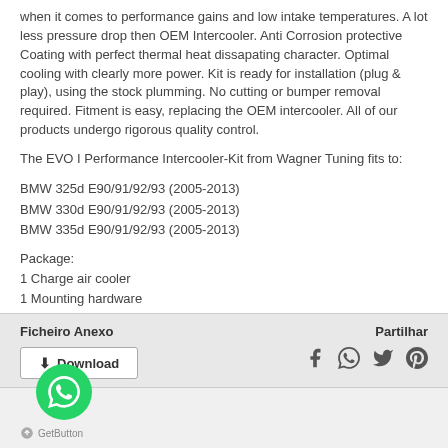when it comes to performance gains and low intake temperatures. A lot less pressure drop then OEM Intercooler. Anti Corrosion protective Coating with perfect thermal heat dissapating character. Optimal cooling with clearly more power. Kit is ready for installation (plug & play), using the stock plumming. No cutting or bumper removal required. Fitment is easy, replacing the OEM intercooler. All of our products undergo rigorous quality control.
The EVO I Performance Intercooler-Kit from Wagner Tuning fits to:
BMW 325d E90/91/92/93 (2005-2013)
BMW 330d E90/91/92/93 (2005-2013)
BMW 335d E90/91/92/93 (2005-2013)
Package:
1 Charge air cooler
1 Mounting hardware
1 Installation instructions
Ficheiro Anexo
Partilhar
Download
GetButton